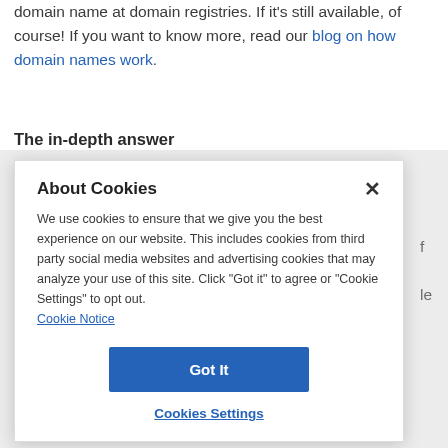domain name at domain registries. If it's still available, of course! If you want to know more, read our blog on how domain names work.
The in-depth answer
We use cookies to ensure that we give you the best experience on our website. This includes cookies from third party social media websites and advertising cookies that may analyze your use of this site. Click "Got it" to agree or "Cookie Settings" to opt out.
Cookie Notice
Got It
Cookies Settings